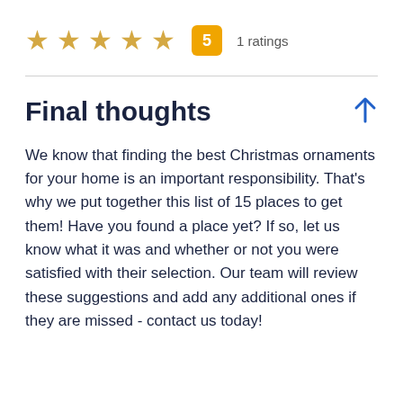[Figure (other): Five gold stars rating display with a yellow badge showing '5' and text '1 ratings']
Final thoughts
We know that finding the best Christmas ornaments for your home is an important responsibility. That's why we put together this list of 15 places to get them! Have you found a place yet? If so, let us know what it was and whether or not you were satisfied with their selection. Our team will review these suggestions and add any additional ones if they are missed - contact us today!